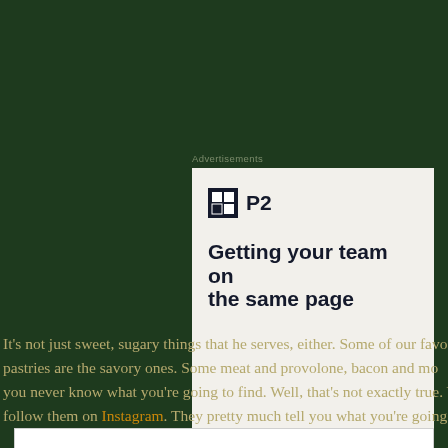Advertisements
[Figure (other): Advertisement card for P2 product with logo icon and headline 'Getting your team on the same page']
It's not just sweet, sugary things that he serves, either. Some of our favo pastries are the savory ones. Some meat and provolone, bacon and mo you never know what you're going to find. Well, that's not exactly true. Yo follow them on Instagram. They pretty much tell you what you're going to
Privacy & Cookies: This site uses cookies. By continuing to use this website, you agree to their use.
To find out more, including how to control cookies, see here: Cookie Policy